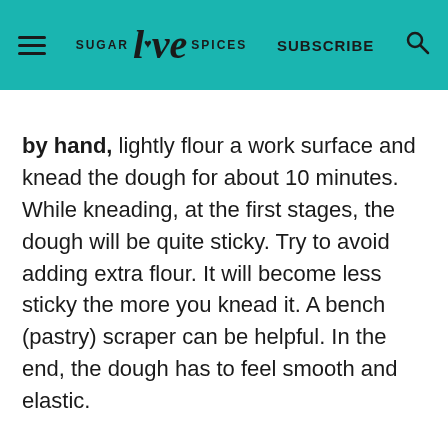SUGAR love SPICES  SUBSCRIBE
by hand, lightly flour a work surface and knead the dough for about 10 minutes. While kneading, at the first stages, the dough will be quite sticky. Try to avoid adding extra flour. It will become less sticky the more you knead it. A bench (pastry) scraper can be helpful. In the end, the dough has to feel smooth and elastic.